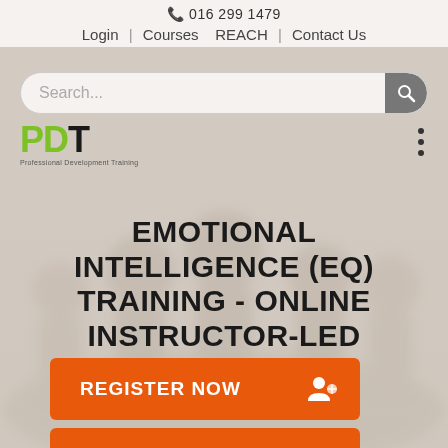016 299 1479
Login | Courses   REACH | Contact Us
[Figure (screenshot): Search bar with placeholder text 'Search...' and a grey search button with magnifying glass icon]
[Figure (logo): PDT Professional Development Training logo — P and D in green, T in black, with tagline 'Professional Development Training' below]
EMOTIONAL INTELLIGENCE (EQ) TRAINING - ONLINE INSTRUCTOR-LED 3HOURS
REGISTER NOW